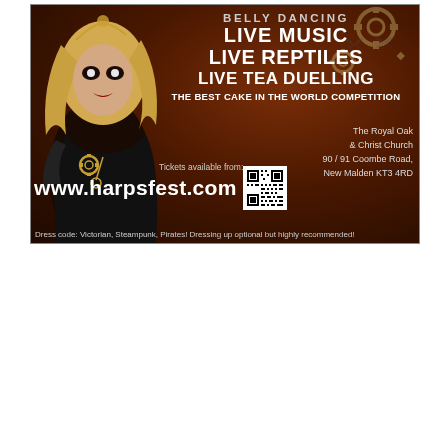[Figure (illustration): Event advertisement for harpsfest.com featuring a steampunk-dressed woman with blonde hair on the left side against a dark reddish-brown background with gear decorations. Text advertises belly dancing, live music, live reptiles, live tea duelling, and best cake in the world competition at The Royal Oak & Christ Church, 90/91 Coombe Road, New Malden KT3 4RD. Includes website www.harpsfest.com and QR code. Dress code: Victorian, Steampunk, Pirates.]